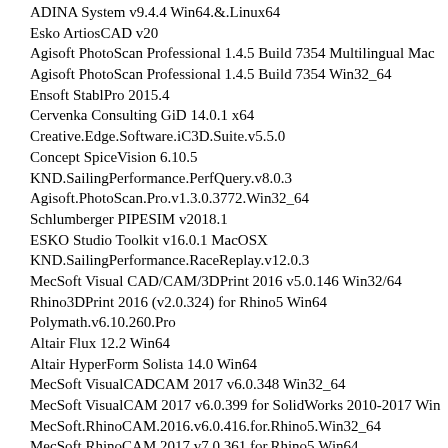ADINA System v9.4.4 Win64.&.Linux64
Esko ArtiosCAD v20
Agisoft PhotoScan Professional 1.4.5 Build 7354 Multilingual Mac
Agisoft PhotoScan Professional 1.4.5 Build 7354 Win32_64
Ensoft StablPro 2015.4
Cervenka Consulting GiD 14.0.1 x64
Creative.Edge.Software.iC3D.Suite.v5.5.0
Concept SpiceVision 6.10.5
KND.SailingPerformance.PerfQuery.v8.0.3
Agisoft.PhotoScan.Pro.v1.3.0.3772.Win32_64
Schlumberger PIPESIM v2018.1
ESKO Studio Toolkit v16.0.1 MacOSX
KND.SailingPerformance.RaceReplay.v12.0.3
MecSoft Visual CAD/CAM/3DPrint 2016 v5.0.146 Win32/64
Rhino3DPrint 2016 (v2.0.324) for Rhino5 Win64
Polymath.v6.10.260.Pro
Altair Flux 12.2 Win64
Altair HyperForm Solista 14.0 Win64
MecSoft VisualCADCAM 2017 v6.0.348 Win32_64
MecSoft VisualCAM 2017 v6.0.399 for SolidWorks 2010-2017 Win
MecSoft.RhinoCAM.2016.v6.0.416.for.Rhino5.Win32_64
MecSoft.RhinoCAM.2017.v7.0.361.for.Rhino5.Win64
TechUnlimited.PlanSwift.v9.0.8.16
Innovyze InfoWorks ICM 2021.1 x64
ARANZ.Geo.Leapfrog.Mining.v2.6.0
Mercury M17 (v1.0.6.45192.0) MacOS